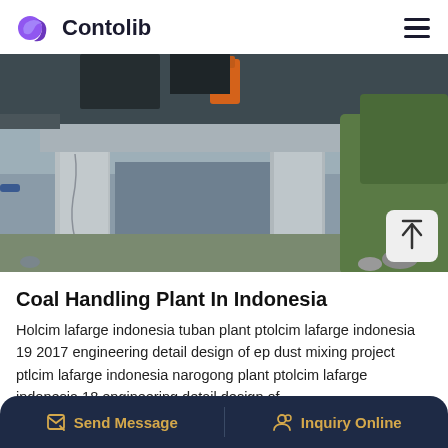Contolib
[Figure (photo): Construction site photo showing a concrete structure being built, with workers visible at the top and vegetation in the background. Coal handling plant construction in Indonesia.]
Coal Handling Plant In Indonesia
Holcim lafarge indonesia tuban plant ptolcim lafarge indonesia 19 2017 engineering detail design of ep dust mixing project ptlcim lafarge indonesia narogong plant ptolcim lafarge indonesia 18 engineering detail design of
Send Message   Inquiry Online